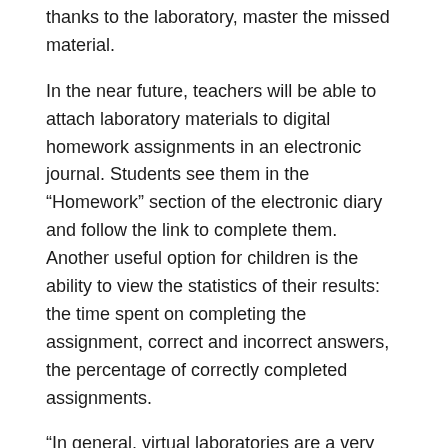thanks to the laboratory, master the missed material.
In the near future, teachers will be able to attach laboratory materials to digital homework assignments in an electronic journal. Students see them in the “Homework” section of the electronic diary and follow the link to complete them. Another useful option for children is the ability to view the statistics of their results: the time spent on completing the assignment, correct and incorrect answers, the percentage of correctly completed assignments.
“In general, virtual laboratories are a very good thing, we lacked such a resource. It is important that they continue to evolve. As for my subject, computer science, I would like to see a simulation laboratory in the future. This is the creation of 3D models in specialized programs and the ability to print these models on a 3D printer, “adds Igor Linkov.